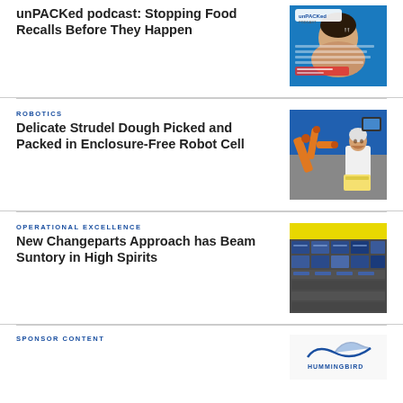unPACKed podcast: Stopping Food Recalls Before They Happen
[Figure (photo): Podcast thumbnail with woman smiling and unPACKed podcast logo]
ROBOTICS
Delicate Strudel Dough Picked and Packed in Enclosure-Free Robot Cell
[Figure (photo): Man in white lab coat standing next to orange robot arm in food processing facility]
OPERATIONAL EXCELLENCE
New Changeparts Approach has Beam Suntory in High Spirits
[Figure (photo): Industrial changeparts components laid out on a surface]
SPONSOR CONTENT
[Figure (logo): Hummingbird or similar sponsor logo]